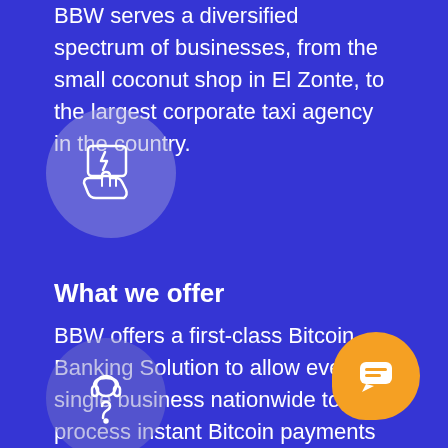BBW serves a diversified spectrum of businesses, from the small coconut shop in El Zonte, to the largest corporate taxi agency in the country.
[Figure (illustration): A circular icon with a lighter purple background showing a hand holding a card or device, with a lightning bolt symbol, white line art style]
What we offer
BBW offers a first-class Bitcoin Banking Solution to allow every single business nationwide to process instant Bitcoin payments via the Lightning network.
[Figure (illustration): A circular icon partially visible at bottom with a person wearing headphones with a question mark, white line art on lighter purple circle background]
[Figure (illustration): Orange rounded chat button with a speech bubble/message icon in the bottom right corner]